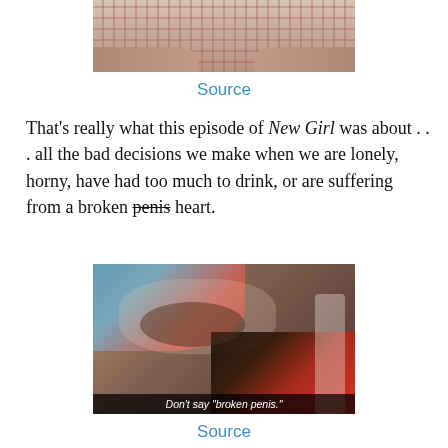[Figure (photo): Cropped photo of a person wearing a plaid/checkered shirt, showing torso and arms only, seated.]
Source
That’s really what this episode of New Girl was about . . . all the bad decisions we make when we are lonely, horny, have had too much to drink, or are suffering from a broken penis heart.
[Figure (photo): A woman with glasses lying on colorful floral pillows/bedding, looking tired or sad. Caption overlay reads: Don't say "broken penis."]
Source